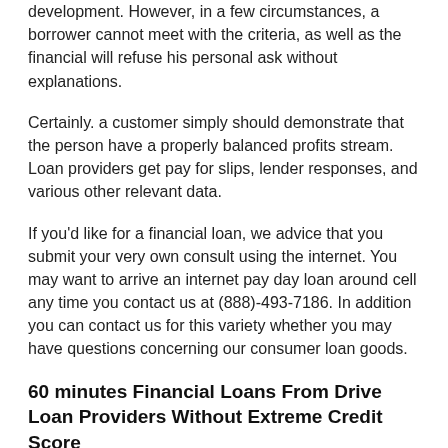development. However, in a few circumstances, a borrower cannot meet with the criteria, as well as the financial will refuse his personal ask without explanations.
Certainly. a customer simply should demonstrate that the person have a properly balanced profits stream. Loan providers get pay for slips, lender responses, and various other relevant data.
If you'd like for a financial loan, we advice that you submit your very own consult using the internet. You may want to arrive an internet pay day loan around cell any time you contact us at (888)-493-7186. In addition you can contact us for this variety whether you may have questions concerning our consumer loan goods.
60 minutes Financial Loans From Drive Loan Providers Without Extreme Credit Score